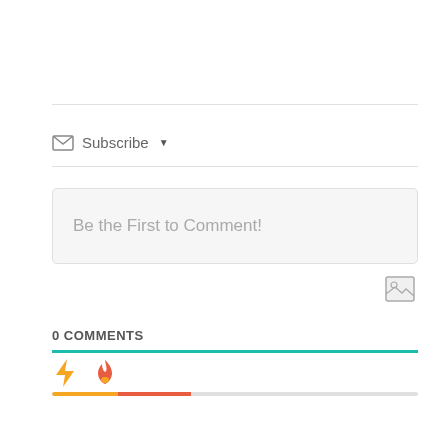Subscribe ▾
Be the First to Comment!
[Figure (screenshot): Image icon (landscape placeholder icon)]
0 COMMENTS
[Figure (infographic): Lightning bolt icon (yellow) and flame icon (orange-red) with teal divider line and two-color progress bar]